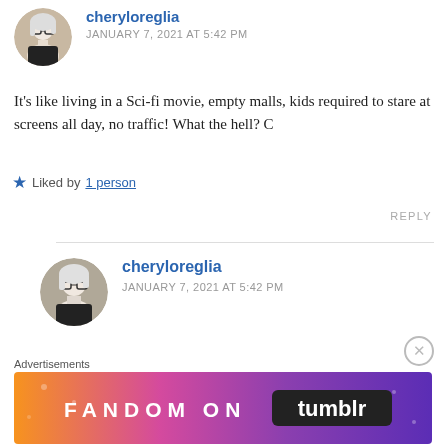[Figure (photo): Round avatar photo of a woman with white/blonde hair and glasses, smiling]
cheryloreglia
JANUARY 7, 2021 AT 5:42 PM
It's like living in a Sci-fi movie, empty malls, kids required to stare at screens all day, no traffic! What the hell? C
★ Liked by 1 person
REPLY
[Figure (photo): Round avatar photo of a woman with white/blonde hair and glasses]
cheryloreglia
JANUARY 7, 2021 AT 5:42 PM
Advertisements
[Figure (illustration): Fandom on Tumblr advertisement banner with colorful gradient background (orange to purple) and white text reading FANDOM ON tumblr]